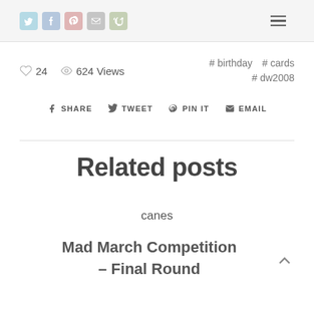Social share icons and hamburger menu
24  624 Views  #birthday  #cards  #dw2008
SHARE  TWEET  PIN IT  EMAIL
Related posts
canes
Mad March Competition – Final Round